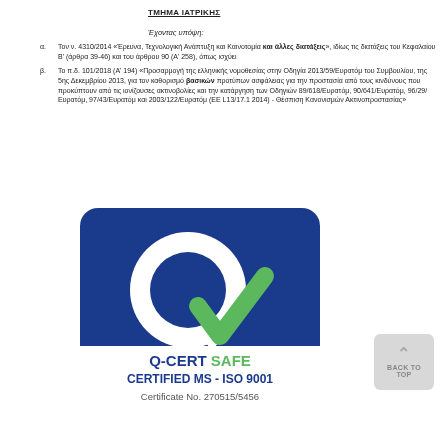ΤΜΗΜΑ ΙΑΤΡΙΚΗΣ
Έχοντας υπόψη:
α. Τον ν. 4310/2014 «Έρευνα, Τεχνολογική Ανάπτυξη και Καινοτομία και άλλες διατάξεις», ιδίως τις διατάξεις του Κεφαλαίου Β' (άρθρα 39-46) και του άρθρου 90 (Α' 258), όπως ισχύει
β. Το π.δ. 101/2018 (Α' 194) «Προσαρμογή της ελληνικής νομοθεσίας στην Οδηγία 2013/59/Ευρατόμ του Συμβουλίου, της 5ης Δεκεμβρίου 2013, για τον καθορισμό βασικών προτύπων ασφάλειας για την προστασία από τους κινδύνους που προκύπτουν από τις ιονίζουσες ακτινοβολίες και την κατάργηση των Οδηγιών 89/618/Ευρατόμ, 90/641/Ευρατόμ, 96/29/Ευρατόμ, 97/43/Ευρατόμ και 2003/122/Ευρατόμ (ΕΕ L13/17.1 2014) - Θέσπιση Κανονισμών Ακτινοπροστασίας»
[Figure (logo): Q-CERT SAFE logo — blue rounded rectangle with large white Q letter and green checkmark; bottom white band with text: Q-CERT SAFE, CERTIFIED MS - ISO 9001, Certificate No. 270515/5456]